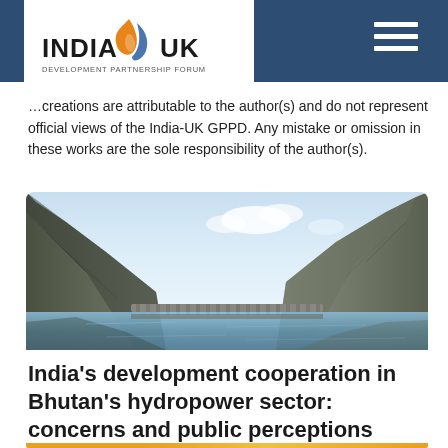[Figure (logo): India-UK Development Partnership Forum logo with flame/leaf graphic in orange and blue]
…creations are attributable to the author(s) and do not represent official views of the India-UK GPPD. Any mistake or omission in these works are the sole responsibility of the author(s).
[Figure (photo): Photograph of a dam or reservoir between rocky mountains with calm reflective water]
India's development cooperation in Bhutan's hydropower sector: concerns and public perceptions